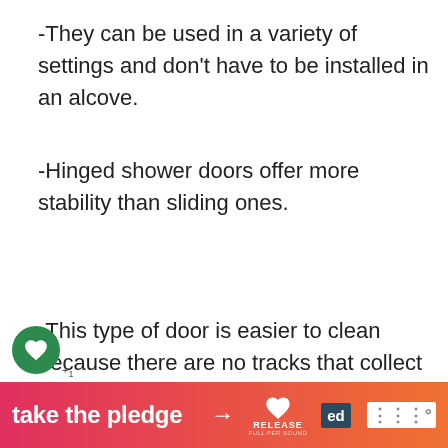-They can be used in a variety of settings and don't have to be installed in an alcove.
-Hinged shower doors offer more stability than sliding ones.
-This type of door is easier to clean because there are no tracks that collect soap scum and mildew.
-They provide a watertight seal that helps prevent leaks.
[Figure (screenshot): Social media overlay with heart/like button (green circle) showing count +1, and share button below it.]
[Figure (screenshot): What's Next promo box showing '12 Bugs That Look Like...' with thumbnail image of bugs.]
[Figure (screenshot): Orange/pink gradient advertisement banner at bottom reading 'take the pledge' with arrow, Release logo, and other brand icons.]